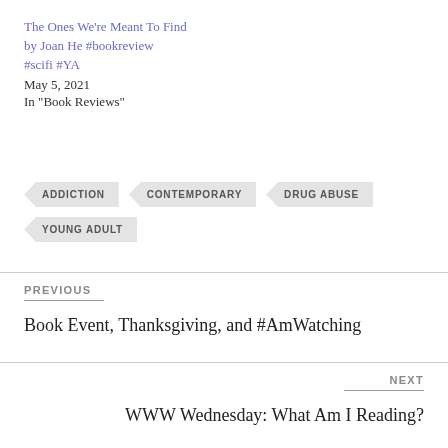The Ones We're Meant To Find by Joan He #bookreview #scifi #YA
May 5, 2021
In "Book Reviews"
ADDICTION
CONTEMPORARY
DRUG ABUSE
YOUNG ADULT
PREVIOUS
Book Event, Thanksgiving, and #AmWatching
NEXT
WWW Wednesday: What Am I Reading?